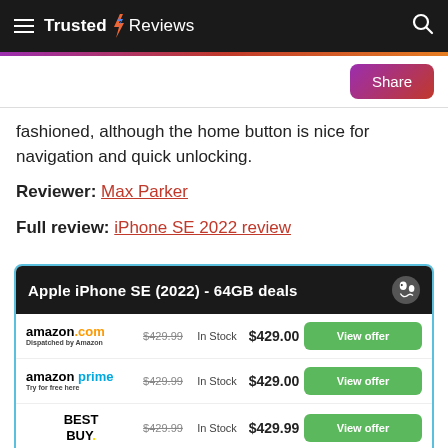Trusted Reviews
fashioned, although the home button is nice for navigation and quick unlocking.
Reviewer: Max Parker
Full review: iPhone SE 2022 review
| Retailer | Was | Stock | Now | Action |
| --- | --- | --- | --- | --- |
| amazon.com Dispatched by Amazon | $429.99 | In Stock | $429.00 | View offer |
| amazon prime Try for free here | $429.99 | In Stock | $429.00 | View offer |
| BEST BUY. | $429.99 | In Stock | $429.99 | View offer |
| verizon | $429.99 | In Stock | $429.99 | View offer |